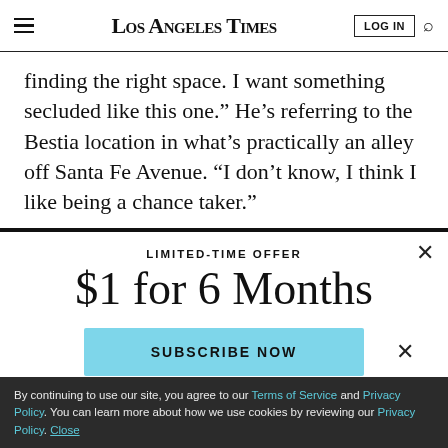Los Angeles Times | LOG IN
finding the right space. I want something secluded like this one.” He’s referring to the Bestia location in what’s practically an alley off Santa Fe Avenue. “I don’t know, I think I like being a chance taker.”
LIMITED-TIME OFFER
$1 for 6 Months
SUBSCRIBE NOW
By continuing to use our site, you agree to our Terms of Service and Privacy Policy. You can learn more about how we use cookies by reviewing our Privacy Policy. Close